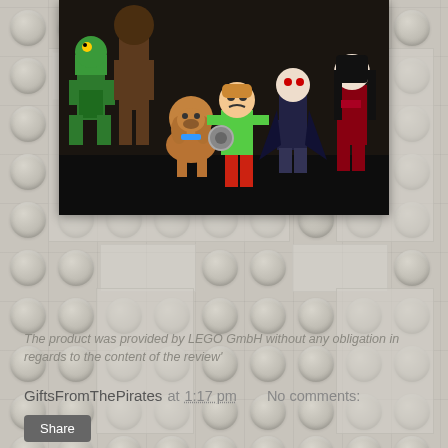[Figure (photo): LEGO minifigures including Scooby-Doo characters: a green creature, Scooby-Doo dog, Shaggy in green shirt and red pants, a vampire/Dracula figure, a dark female figure, and other monster characters arranged together on a dark surface]
The product was provided by LEGO GmbH without any obligation in regards to the content of the review'
GiftsFromThePirates at 1:17 pm   No comments:
Share